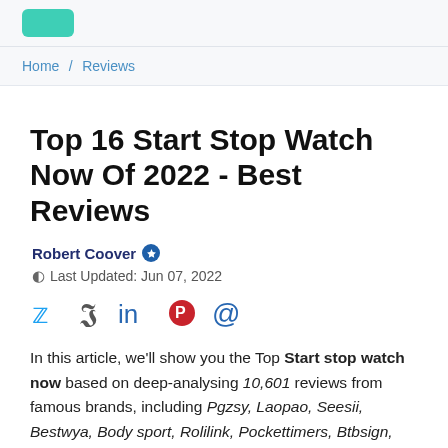[Logo]
Home / Reviews
Top 16 Start Stop Watch Now Of 2022 - Best Reviews
Robert Coover [verified badge]
Last Updated: Jun 07, 2022
[Figure (infographic): Social share icons: Twitter, Facebook, LinkedIn, Pinterest, Email]
In this article, we'll show you the Top Start stop watch now based on deep-analysing 10,601 reviews from famous brands, including Pgzsy, Laopao, Seesii, Bestwya, Body sport, Rolilink, Pockettimers, Btbsign, Pulivia, Ledgital, Slevio, Ced. Furthermore, you can